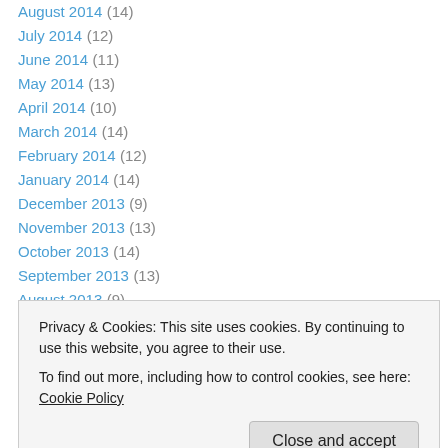August 2014 (14)
July 2014 (12)
June 2014 (11)
May 2014 (13)
April 2014 (10)
March 2014 (14)
February 2014 (12)
January 2014 (14)
December 2013 (9)
November 2013 (13)
October 2013 (14)
September 2013 (13)
August 2013 (9)
Privacy & Cookies: This site uses cookies. By continuing to use this website, you agree to their use. To find out more, including how to control cookies, see here: Cookie Policy
January 2013 (6)